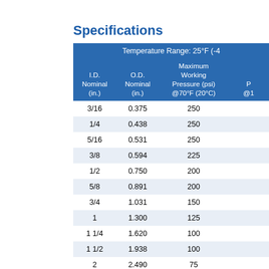Specifications
| I.D. Nominal (in.) | O.D. Nominal (in.) | Maximum Working Pressure (psi) @70°F (20°C) | Pr... @1... |
| --- | --- | --- | --- |
| 3/16 | 0.375 | 250 |  |
| 1/4 | 0.438 | 250 |  |
| 5/16 | 0.531 | 250 |  |
| 3/8 | 0.594 | 225 |  |
| 1/2 | 0.750 | 200 |  |
| 5/8 | 0.891 | 200 |  |
| 3/4 | 1.031 | 150 |  |
| 1 | 1.300 | 125 |  |
| 1 1/4 | 1.620 | 100 |  |
| 1 1/2 | 1.938 | 100 |  |
| 2 | 2.490 | 75 |  |